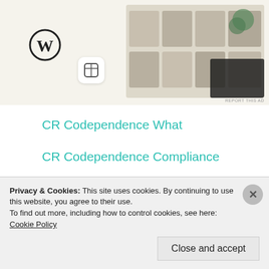[Figure (screenshot): Advertisement banner showing WordPress logo and food/recipe app screenshots on a beige background, with 'REPORT THIS AD' text]
CR Codependence What
CR Codependence Compliance
CR Codependence Enabling
CR Codependence Problem
CR Codependence Patterns
CR Codependence Christian
Privacy & Cookies: This site uses cookies. By continuing to use this website, you agree to their use.
To find out more, including how to control cookies, see here: Cookie Policy
Close and accept